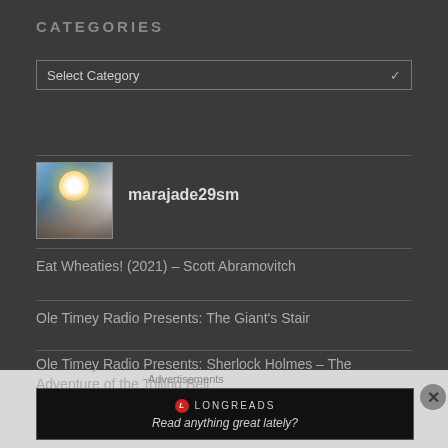CATEGORIES
Select Category
[Figure (photo): User avatar photo showing a person silhouetted against a bright sun/sky background]
marajade29sm
Eat Wheaties! (2021) – Scott Abramovitch
Ole Timey Radio Presents: The Giant's Stair
Ole Timey Radio Presents: Sherlock Holmes – The Adventure of the Tolling Bell
Advertisements
[Figure (logo): Longreads advertisement banner with logo and tagline 'Read anything great lately?']